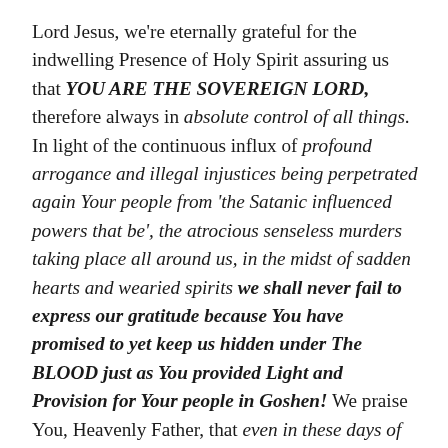Lord Jesus, we're eternally grateful for the indwelling Presence of Holy Spirit assuring us that YOU ARE THE SOVEREIGN LORD, therefore always in absolute control of all things. In light of the continuous influx of profound arrogance and illegal injustices being perpetrated again Your people from 'the Satanic influenced powers that be', the atrocious senseless murders taking place all around us, in the midst of sadden hearts and wearied spirits we shall never fail to express our gratitude because You have promised to yet keep us hidden under The BLOOD just as You provided Light and Provision for Your people in Goshen! We praise You, Heavenly Father, that even in these days of imminent terror, tragedy, chaos and destruction, we know that the safest place in this